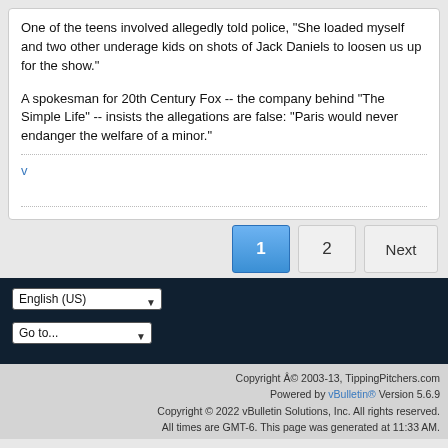One of the teens involved allegedly told police, "She loaded myself and two other underage kids on shots of Jack Daniels to loosen us up for the show."
A spokesman for 20th Century Fox -- the company behind "The Simple Life" -- insists the allegations are false: "Paris would never endanger the welfare of a minor."
v
Copyright © 2003-13, TippingPitchers.com
Powered by vBulletin® Version 5.6.9
Copyright © 2022 vBulletin Solutions, Inc. All rights reserved.
All times are GMT-6. This page was generated at 11:33 AM.